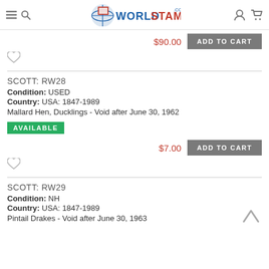WorldStamps.com
$90.00 ADD TO CART
SCOTT: RW28
Condition: USED
Country: USA: 1847-1989
Mallard Hen, Ducklings - Void after June 30, 1962
AVAILABLE
$7.00 ADD TO CART
SCOTT: RW29
Condition: NH
Country: USA: 1847-1989
Pintail Drakes - Void after June 30, 1963